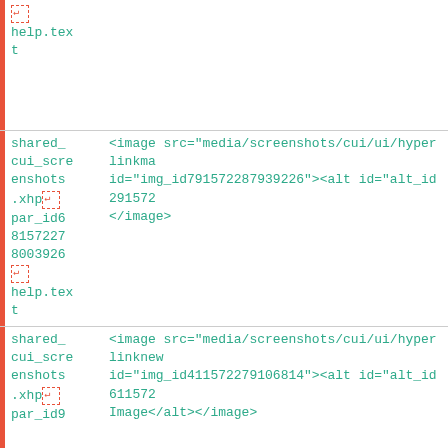| col1 | col2 |
| --- | --- |
| [newline]
help.text
t |  |
| shared_
cui_scre
enshots
.xhp[newline]
par_id6
8157227
8003926
[newline]
help.tex
t | <image src="media/screenshots/cui/ui/hyperlinkma
id="img_id791572287939226"><alt id="alt_id291572
</antml:image> |
| shared_
cui_scre
enshots
.xhp[newline]
par_id9 | <image src="media/screenshots/cui/ui/hyperlinknew
id="img_id411572279106814"><alt id="alt_id611572
Image</alt></antml:image> |